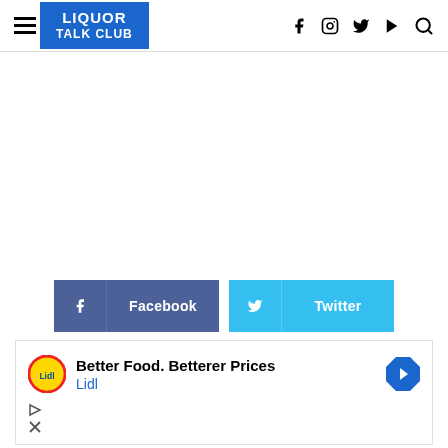LIQUOR TALK CLUB — navigation header with hamburger menu, logo, and social icons (f, instagram, twitter, youtube, search)
[Figure (screenshot): Large blank white content area (advertisement placeholder)]
[Figure (infographic): Facebook and Twitter share buttons side by side]
[Figure (infographic): Advertisement box: Lidl — Better Food. Betterer Prices, Lidl brand]